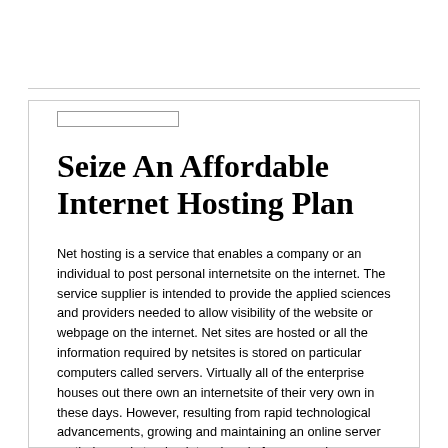Seize An Affordable Internet Hosting Plan
Net hosting is a service that enables a company or an individual to post personal internetsite on the internet. The service supplier is intended to provide the applied sciences and providers needed to allow visibility of the website or webpage on the internet. Net sites are hosted or all the information required by netsites is stored on particular computers called servers. Virtually all of the enterprise houses out there own an internetsite of their very own in these days. However, resulting from rapid technological advancements, growing and maintaining an online server on their own is turning into a hassle for companies. Therefore, most of the major corporate houses outsource their companies to a reliable third party who can provide them affordable web hosting plan at a fraction of the first...